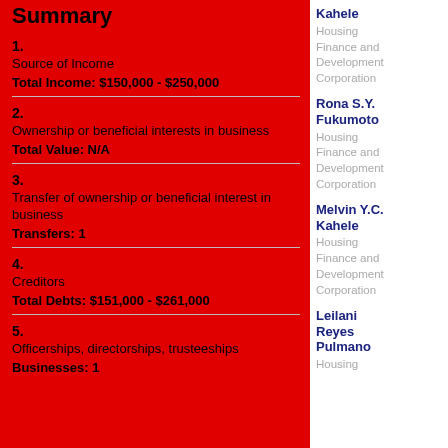Summary
1.
Source of Income
Total Income: $150,000 - $250,000
2.
Ownership or beneficial interests in business
Total Value: N/A
3.
Transfer of ownership or beneficial interest in business
Transfers: 1
4.
Creditors
Total Debts: $151,000 - $261,000
5.
Officerships, directorships, trusteeships
Businesses: 1
Kahele
Housing Finance and Development Corporation
Rona S.Y. Fukumoto
Housing Finance and Development Corporation
Melvin Y.C. Kahele
Housing Finance and Development Corporation
Leilani Reyes Pulmano
Housing